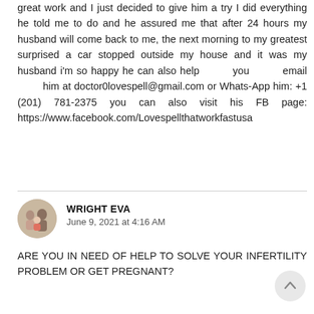great work and I just decided to give him a try I did everything he told me to do and he assured me that after 24 hours my husband will come back to me, the next morning to my greatest surprised a car stopped outside my house and it was my husband i'm so happy he can also help you email him at doctor0lovespell@gmail.com or Whats-App him: +1 (201) 781-2375 you can also visit his FB page: https://www.facebook.com/Lovespellthatworkfastusa
WRIGHT EVA
June 9, 2021 at 4:16 AM
ARE YOU IN NEED OF HELP TO SOLVE YOUR INFERTILITY PROBLEM OR GET PREGNANT?